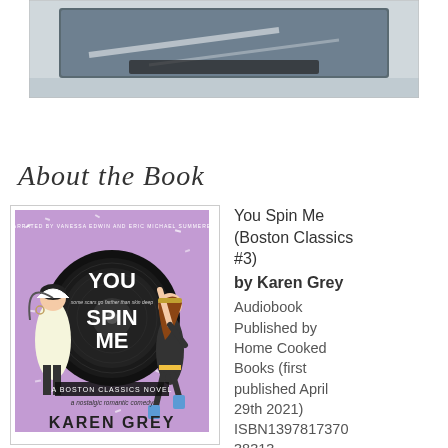[Figure (photo): Partial photo of what appears to be a book or tablet on a reflective surface, shown cropped at the top of the page]
About the Book
[Figure (illustration): Book cover of 'You Spin Me' by Karen Grey — a Boston Classics Novel, a nostalgic romantic comedy. Purple background with illustrated characters and a vinyl record. Narrated by Vanessa Edwin and Eric Michael Summerer.]
You Spin Me (Boston Classics #3) by Karen Grey Audiobook Published by Home Cooked Books (first published April 29th 2021) ISBN13978173703838313